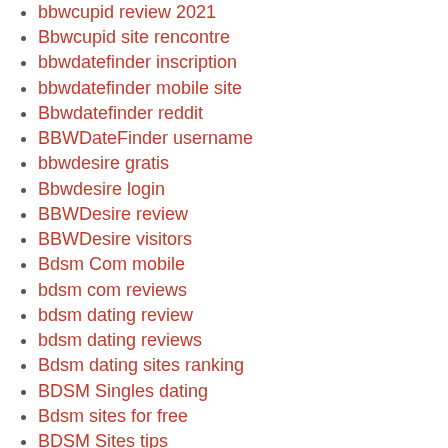bbwcupid review 2021
Bbwcupid site rencontre
bbwdatefinder inscription
bbwdatefinder mobile site
Bbwdatefinder reddit
BBWDateFinder username
bbwdesire gratis
Bbwdesire login
BBWDesire review
BBWDesire visitors
Bdsm Com mobile
bdsm com reviews
bdsm dating review
bdsm dating reviews
Bdsm dating sites ranking
BDSM Singles dating
Bdsm sites for free
BDSM Sites tips
BDSM Sites visitors
BDSM visitors
Bdsm28 bewertung
be2 Accedere
be2 dating
be2 fr pc
Be2 mobile site